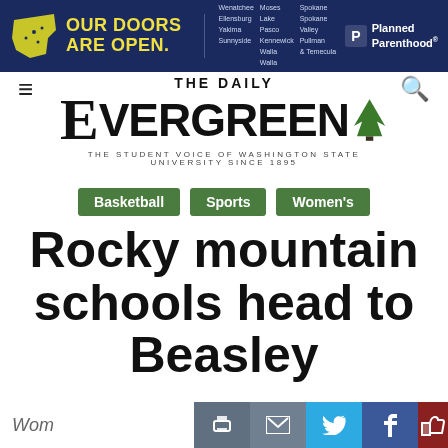[Figure (illustration): Planned Parenthood advertisement banner with dark navy background, yellow Washington state map, 'OUR DOORS ARE OPEN.' tagline, list of cities, and Planned Parenthood logo]
[Figure (logo): The Daily Evergreen newspaper logo with tree icon and subtitle 'THE STUDENT VOICE OF WASHINGTON STATE UNIVERSITY SINCE 1895']
Basketball
Sports
Women's
Rocky mountain schools head to Beasley
Wom